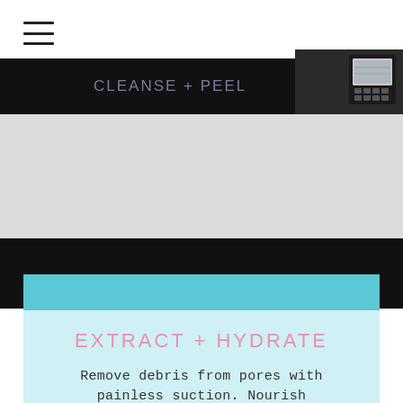[Figure (other): Hamburger menu icon (three horizontal lines) in the top left corner]
CLEANSE + PEEL
[Figure (photo): Partial view of a skincare device with a control panel, shown on a dark background]
EXTRACT + HYDRATE
Remove debris from pores with painless suction. Nourish